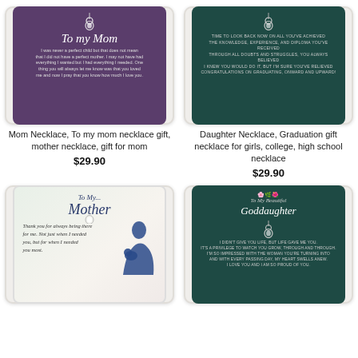[Figure (photo): Mom Necklace product card with purple background showing 'To my Mom' text and necklace pendant]
Mom Necklace, To my mom necklace gift, mother necklace, gift for mom
$29.90
[Figure (photo): Daughter Necklace graduation gift product card with dark teal background and necklace pendant]
Daughter Necklace, Graduation gift necklace for girls, college, high school necklace
$29.90
[Figure (photo): To My Mother necklace product card with white/floral background and mother-child silhouette]
[Figure (photo): To My Beautiful Goddaughter necklace product card with dark teal background and floral decoration]